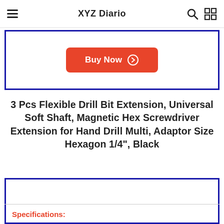XYZ Diario
[Figure (other): Buy Now button (red rounded rectangle with right-arrow icon) inside a navy blue bordered card]
3 Pcs Flexible Drill Bit Extension, Universal Soft Shaft, Magnetic Hex Screwdriver Extension for Hand Drill Multi, Adaptor Size Hexagon 1/4", Black
[Figure (other): Navy blue bordered card containing a product image area (white/blank) with a horizontal divider and a red Specifications: label at the bottom]